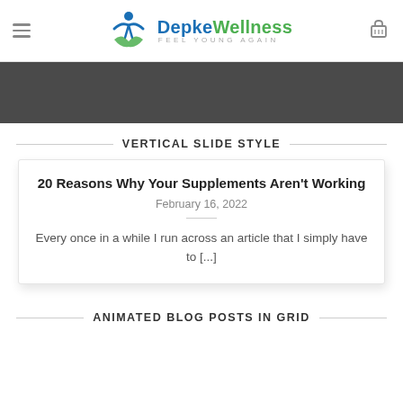Depke Wellness — Feel Young Again
[Figure (illustration): Dark gray banner/hero area below the site header]
VERTICAL SLIDE STYLE
20 Reasons Why Your Supplements Aren't Working
February 16, 2022
Every once in a while I run across an article that I simply have to [...]
ANIMATED BLOG POSTS IN GRID